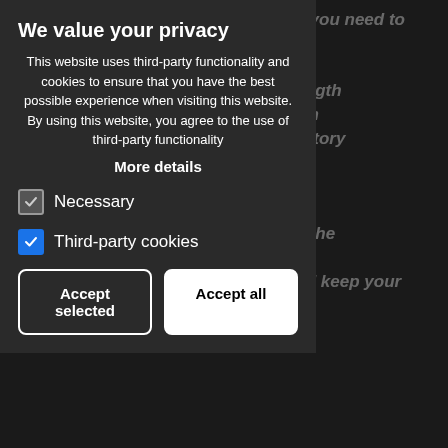We value your privacy
This website uses third-party functionality and cookies to ensure that you have the best possible experience when visiting this website. By using this website, you agree to the use of third-party functionality
More details
Necessary
Third-party cookies